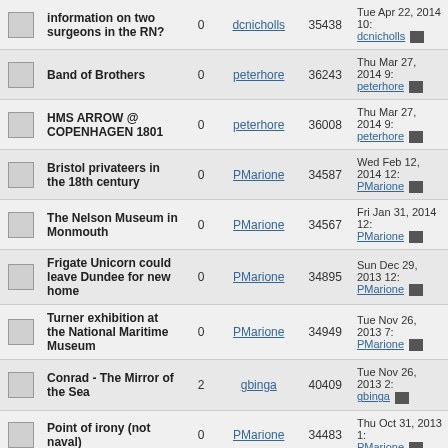|  | Topic | Replies | Author | Views | Last Post |
| --- | --- | --- | --- | --- | --- |
|  | information on two surgeons in the RN? | 0 | dcnicholls | 35438 | Tue Apr 22, 2014 10: dcnicholls |
|  | Band of Brothers | 0 | peterhore | 36243 | Thu Mar 27, 2014 9: peterhore |
|  | HMS ARROW @ COPENHAGEN 1801 | 0 | peterhore | 36008 | Thu Mar 27, 2014 9: peterhore |
|  | Bristol privateers in the 18th century | 0 | PMarione | 34587 | Wed Feb 12, 2014 12: PMarione |
|  | The Nelson Museum in Monmouth | 0 | PMarione | 34567 | Fri Jan 31, 2014 12: PMarione |
|  | Frigate Unicorn could leave Dundee for new home | 0 | PMarione | 34895 | Sun Dec 29, 2013 12: PMarione |
|  | Turner exhibition at the National Maritime Museum | 0 | PMarione | 34949 | Tue Nov 26, 2013 7: PMarione |
|  | Conrad - The Mirror of the Sea | 2 | gbinga | 40409 | Tue Nov 26, 2013 2: gbinga |
|  | Point of irony (not naval) | 0 | PMarione | 34483 | Thu Oct 31, 2013 1: PMarione |